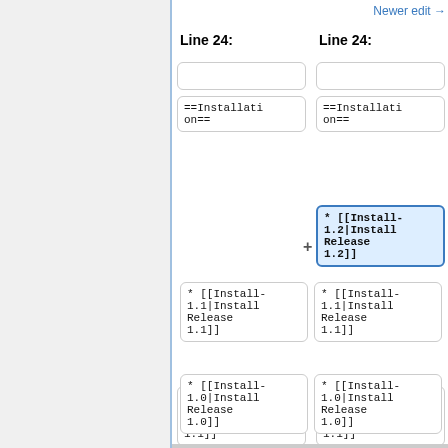Newer edit →
Line 24:
Line 24:
==Installation==
==Installation==
* [[Install-1.2|Install Release 1.2]]
* [[Install-1.1|Install Release 1.1]]
* [[Install-1.1|Install Release 1.1]]
* [[Install-1.0|Install Release 1.0]]
* [[Install-1.0|Install Release 1.0]]